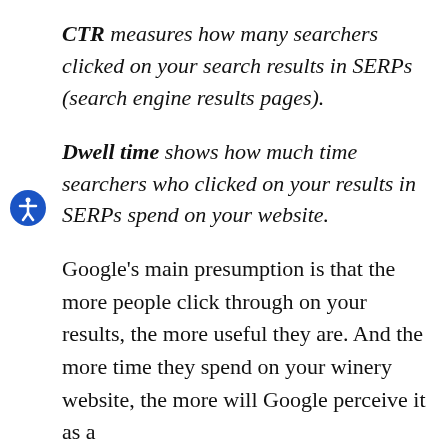CTR measures how many searchers clicked on your search results in SERPs (search engine results pages).
Dwell time shows how much time searchers who clicked on your results in SERPs spend on your website.
Google's main presumption is that the more people click through on your results, the more useful they are. And the more time they spend on your winery website, the more will Google perceive it as a